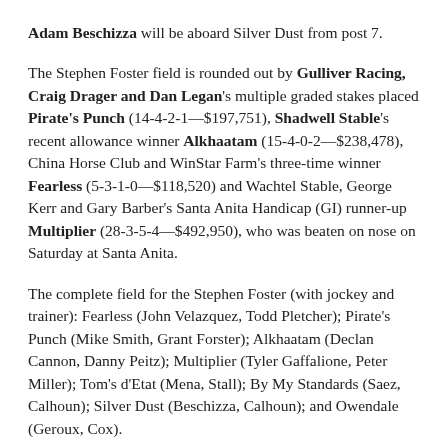Adam Beschizza will be aboard Silver Dust from post 7.
The Stephen Foster field is rounded out by Gulliver Racing, Craig Drager and Dan Legan's multiple graded stakes placed Pirate's Punch (14-4-2-1—$197,751), Shadwell Stable's recent allowance winner Alkhaatam (15-4-0-2—$238,478), China Horse Club and WinStar Farm's three-time winner Fearless (5-3-1-0—$118,520) and Wachtel Stable, George Kerr and Gary Barber's Santa Anita Handicap (GI) runner-up Multiplier (28-3-5-4—$492,950), who was beaten on nose on Saturday at Santa Anita.
The complete field for the Stephen Foster (with jockey and trainer): Fearless (John Velazquez, Todd Pletcher); Pirate's Punch (Mike Smith, Grant Forster); Alkhaatam (Declan Cannon, Danny Peitz); Multiplier (Tyler Gaffalione, Peter Miller); Tom's d'Etat (Mena, Stall); By My Standards (Saez, Calhoun); Silver Dust (Beschizza, Calhoun); and Owendale (Geroux, Cox).